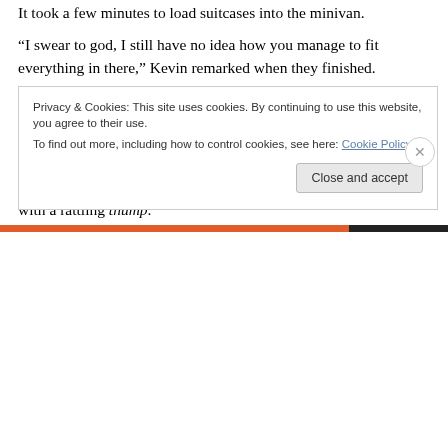It took a few minutes to load suitcases into the minivan.
“I swear to god, I still have no idea how you manage to fit everything in there,” Kevin remarked when they finished.
“I blame Tetris,” Dawn commented.
Keith grinned. “See? All that time was worth something!”
After a brief discussion between Kevin’s parents about who wanted to drive, they all boarded the van and the doors slid shut with a rattling thump.
Privacy & Cookies: This site uses cookies. By continuing to use this website, you agree to their use.
To find out more, including how to control cookies, see here: Cookie Policy
Close and accept